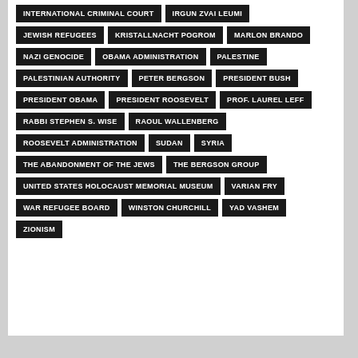INTERNATIONAL CRIMINAL COURT
IRGUN ZVAI LEUMI
JEWISH REFUGEES
KRISTALLNACHT POGROM
MARLON BRANDO
NAZI GENOCIDE
OBAMA ADMINISTRATION
PALESTINE
PALESTINIAN AUTHORITY
PETER BERGSON
PRESIDENT BUSH
PRESIDENT OBAMA
PRESIDENT ROOSEVELT
PROF. LAUREL LEFF
RABBI STEPHEN S. WISE
RAOUL WALLENBERG
ROOSEVELT ADMINISTRATION
SUDAN
SYRIA
THE ABANDONMENT OF THE JEWS
THE BERGSON GROUP
UNITED STATES HOLOCAUST MEMORIAL MUSEUM
VARIAN FRY
WAR REFUGEE BOARD
WINSTON CHURCHILL
YAD VASHEM
ZIONISM